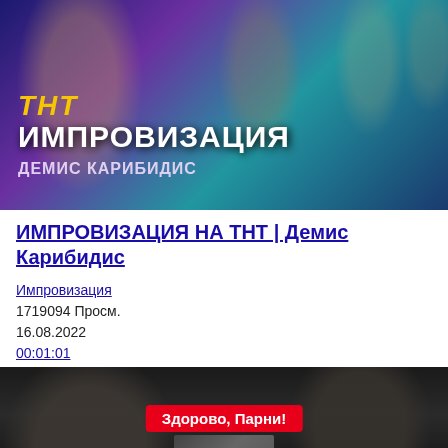[Figure (photo): TV show promotional banner for 'Импровизация' on TNT channel featuring Demis Karibidis and other cast members on a purple/teal gradient background]
ИМПРОВИЗАЦИЯ НА ТНТ | Демис Карибидис
Импровизация
1719094 Просм.
16.08.2022
00:01:01
[Figure (screenshot): Dark video thumbnail showing people with a red button overlay saying 'Здорово, Парни!' and a smaller embedded thumbnail at the bottom]